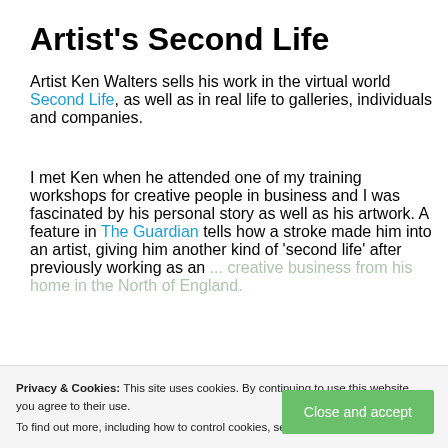Artist's Second Life
Artist Ken Walters sells his work in the virtual world Second Life, as well as in real life to galleries, individuals and companies.
I met Ken when he attended one of my training workshops for creative people in business and I was fascinated by his personal story as well as his artwork. A feature in The Guardian tells how a stroke made him into an artist, giving him another kind of 'second life' after previously working as an ... creative business from his home in the North of England.
He has combined his new talents as an artist with
Privacy & Cookies: This site uses cookies. By continuing to use this website, you agree to their use. To find out more, including how to control cookies, see here: Cookie Policy